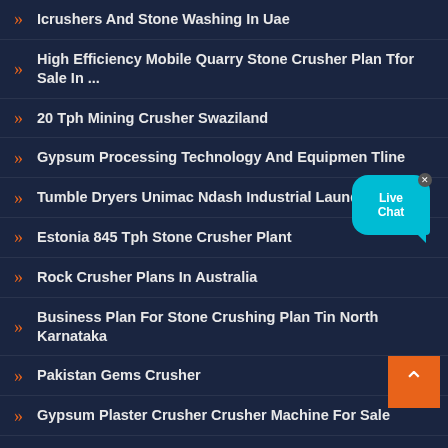Icrushers And Stone Washing In Uae
High Efficiency Mobile Quarry Stone Crusher Plan Tfor Sale In ...
20 Tph Mining Crusher Swaziland
Gypsum Processing Technology And Equipmen Tline
Tumble Dryers Unimac Ndash Industrial Laundry Equip...
Estonia 845 Tph Stone Crusher Plant
Rock Crusher Plans In Australia
Business Plan For Stone Crushing Plan Tin North Karnataka
Pakistan Gems Crusher
Gypsum Plaster Crusher Crusher Machine For Sale
Disposing And Removing Of Waste Materials From A Nstruction